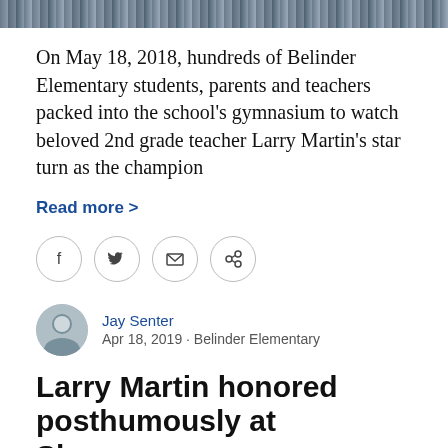[Figure (photo): Photo strip at top of page showing people, partially cropped]
On May 18, 2018, hundreds of Belinder Elementary students, parents and teachers packed into the school's gymnasium to watch beloved 2nd grade teacher Larry Martin's star turn as the champion
Read more >
[Figure (infographic): Social sharing icons: Facebook, Twitter, Email, Link]
Jay Senter
Apr 18, 2019 · Belinder Elementary
Larry Martin honored posthumously at Shawnee